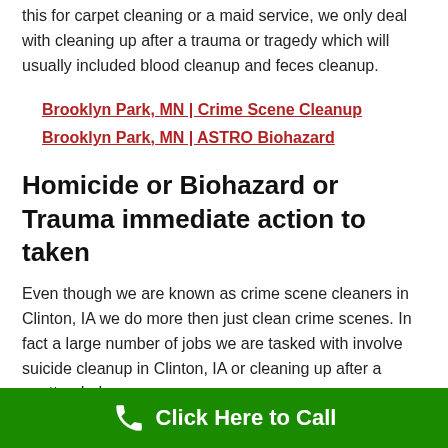this for carpet cleaning or a maid service, we only deal with cleaning up after a trauma or tragedy which will usually included blood cleanup and feces cleanup.
Brooklyn Park, MN | Crime Scene Cleanup Brooklyn Park, MN | ASTRO Biohazard
Homicide or Biohazard or Trauma immediate action to taken
Even though we are known as crime scene cleaners in Clinton, IA we do more then just clean crime scenes. In fact a large number of jobs we are tasked with involve suicide cleanup in Clinton, IA or cleaning up after a unattended
Click Here to Call